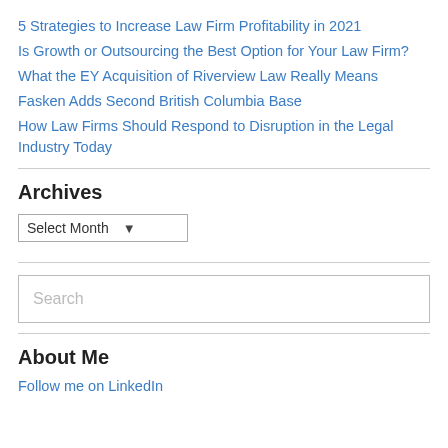5 Strategies to Increase Law Firm Profitability in 2021
Is Growth or Outsourcing the Best Option for Your Law Firm?
What the EY Acquisition of Riverview Law Really Means
Fasken Adds Second British Columbia Base
How Law Firms Should Respond to Disruption in the Legal Industry Today
Archives
Select Month
Search
About Me
Follow me on LinkedIn